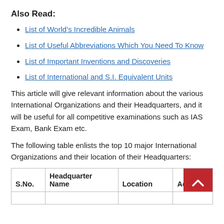Also Read:
List of World's Incredible Animals
List of Useful Abbreviations Which You Need To Know
List of Important Inventions and Discoveries
List of International and S.I. Equivalent Units
This article will give relevant information about the various International Organizations and their Headquarters, and it will be useful for all competitive examinations such as IAS Exam, Bank Exam etc.
The following table enlists the top 10 major International Organizations and their location of their Headquarters:
| S.No. | Headquarter Name | Location | Action |
| --- | --- | --- | --- |